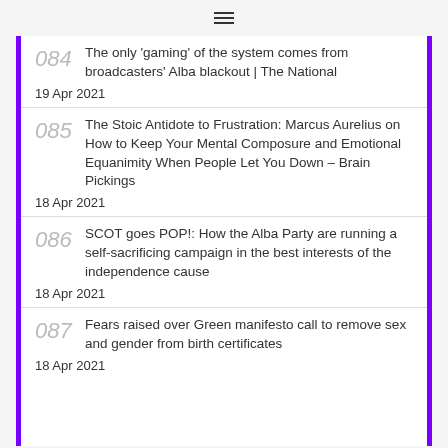≡
084 The only 'gaming' of the system comes from broadcasters' Alba blackout | The National
19 Apr 2021
085 The Stoic Antidote to Frustration: Marcus Aurelius on How to Keep Your Mental Composure and Emotional Equanimity When People Let You Down – Brain Pickings
18 Apr 2021
086 SCOT goes POP!: How the Alba Party are running a self-sacrificing campaign in the best interests of the independence cause
18 Apr 2021
087 Fears raised over Green manifesto call to remove sex and gender from birth certificates
18 Apr 2021